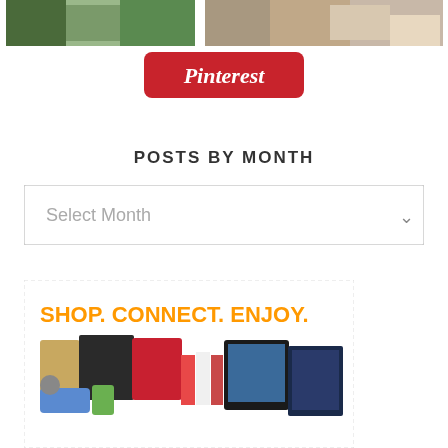[Figure (photo): Two cropped photo thumbnails at the top: left shows people outdoors, right shows people indoors]
[Figure (logo): Pinterest logo button - red rounded rectangle with white Pinterest text]
POSTS BY MONTH
[Figure (screenshot): Dropdown select box with placeholder text 'Select Month' and a chevron arrow on the right side]
[Figure (infographic): Advertisement banner with orange text 'SHOP. CONNECT. ENJOY.' and images of various products including electronics, kitchenware, shoes, books, tablets and a movie]